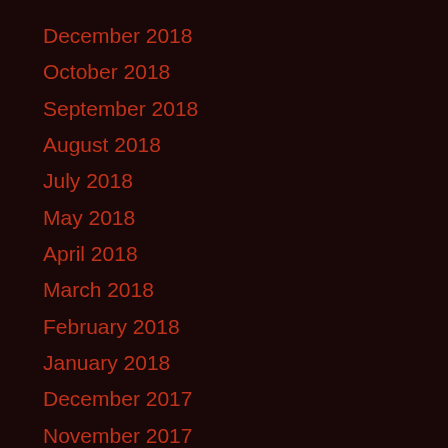December 2018
October 2018
September 2018
August 2018
July 2018
May 2018
April 2018
March 2018
February 2018
January 2018
December 2017
November 2017
October 2017
September 2017